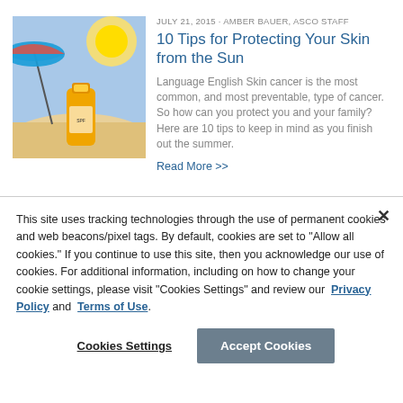JULY 21, 2015 · AMBER BAUER, ASCO STAFF
10 Tips for Protecting Your Skin from the Sun
Language English Skin cancer is the most common, and most preventable, type of cancer. So how can you protect you and your family? Here are 10 tips to keep in mind as you finish out the summer.
Read More >>
[Figure (photo): Photo of sunscreen bottle on sandy beach with colorful beach umbrella and sunlight in background]
FEBRUARY 2, 2015 · AMBER BAUER, ASCO STAFF
6 Healthy Living Tips for World Cancer
[Figure (photo): Image with alt text: 6 Tips for #worldcancerday]
This site uses tracking technologies through the use of permanent cookies and web beacons/pixel tags. By default, cookies are set to "Allow all cookies." If you continue to use this site, then you acknowledge our use of cookies. For additional information, including on how to change your cookie settings, please visit "Cookies Settings" and review our  Privacy Policy and  Terms of Use.
Cookies Settings
Accept Cookies